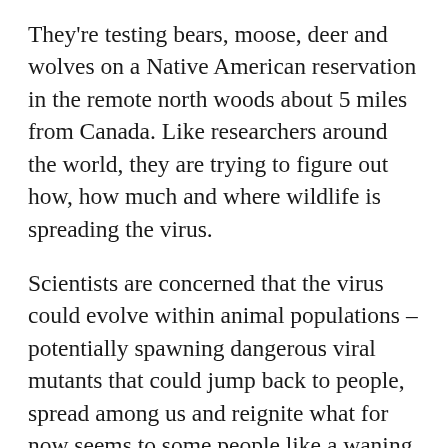They're testing bears, moose, deer and wolves on a Native American reservation in the remote north woods about 5 miles from Canada. Like researchers around the world, they are trying to figure out how, how much and where wildlife is spreading the virus.
Scientists are concerned that the virus could evolve within animal populations – potentially spawning dangerous viral mutants that could jump back to people, spread among us and reignite what for now seems to some people like a waning crisis.
The coronavirus pandemic has served as a stark and tragic example of how closely animal health and human health are linked. While the origins of the virus have not been proven, many scientists say it likely jumped from bats to humans, either directly or through an intermediate animal.